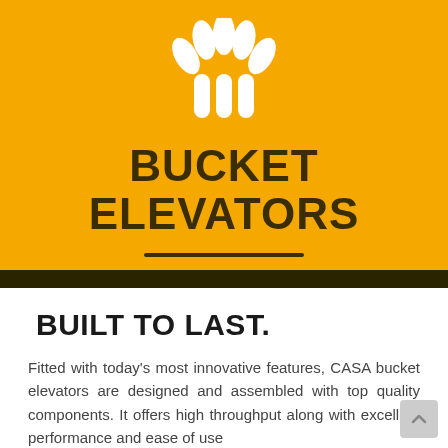[Figure (logo): White grain/wheat logo icon on golden yellow background — three leaf/petal shapes on top and three rounded pillar shapes below]
BUCKET ELEVATORS
BUILT TO LAST.
Fitted with today's most innovative features, CASA bucket elevators are designed and assembled with top quality components. It offers high throughput along with excellent performance and ease of use